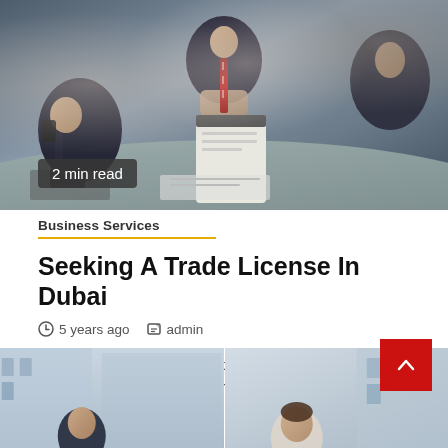[Figure (photo): Overhead view of business people in a meeting, one person holding a clipboard, another on the phone, suits and ties visible on a desk]
2 min read
Business Services
Seeking A Trade License In Dubai
5 years ago   admin
There is little doubt not all places are equal when it comes to doing business. This is the reason why...
[Figure (photo): Two partial images at the bottom of the page showing people in business settings]